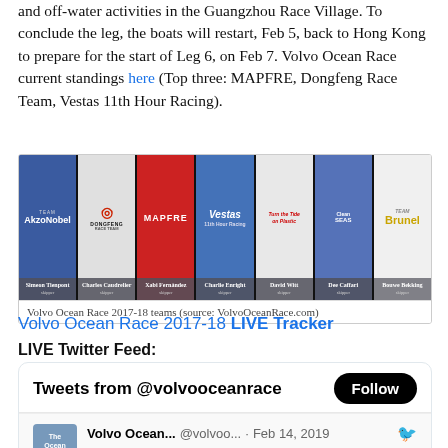and off-water activities in the Guangzhou Race Village. To conclude the leg, the boats will restart, Feb 5, back to Hong Kong to prepare for the start of Leg 6, on Feb 7. Volvo Ocean Race current standings here (Top three: MAPFRE, Dongfeng Race Team, Vestas 11th Hour Racing).
[Figure (photo): Volvo Ocean Race 2017-18 teams banner showing all seven team logos and skipper names: AkzoNobel (Simeon Tienpont), Dongfeng Race Team (Charles Caudrelier), MAPFRE (Xabi Fernández), Vestas 11th Hour Racing (Charlie Enright), Turn the Tide on Plastic (David Witt), Clean Seas (Dee Caffari), Team Brunel (Bouwe Bekking)]
Volvo Ocean Race 2017-18 teams (source: VolvoOceanRace.com)
Volvo Ocean Race 2017-18 LIVE Tracker
LIVE Twitter Feed:
Tweets from @volvooceanrace
Volvo Ocean... @volvoo... · Feb 14, 2019
We won't be tweeting from this account anymore – but if you were following @volvooceanrace previously, you'll now automatically be following